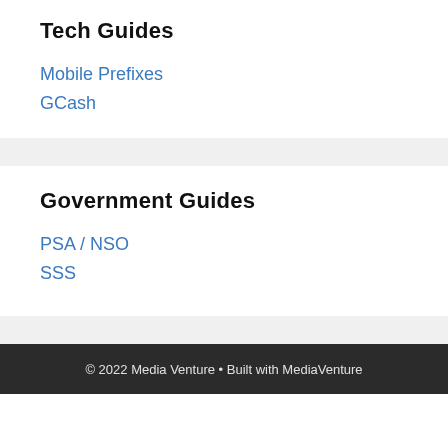Tech Guides
Mobile Prefixes
GCash
Government Guides
PSA / NSO
SSS
© 2022 Media Venture • Built with MediaVenture